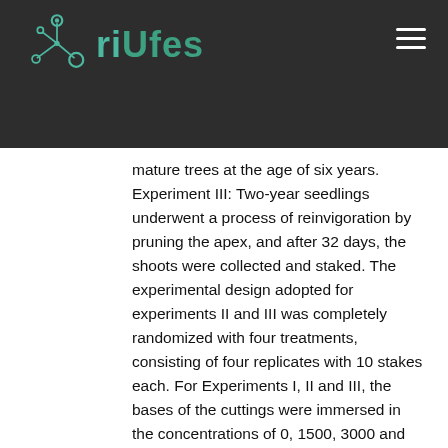riUfes
mature trees at the age of six years. Experiment III: Two-year seedlings underwent a process of reinvigoration by pruning the apex, and after 32 days, the shoots were collected and staked. The experimental design adopted for experiments II and III was completely randomized with four treatments, consisting of four replicates with 10 stakes each. For Experiments I, II and III, the bases of the cuttings were immersed in the concentrations of 0, 1500, 3000 and 6000 mg L-1 of IBA and staked in 55 cm3 filled with expanded vermiculite. Experiment IV: Formation of clonal minijardim, from seedlings propagated by Lecythis lanceolata seeds. The minicuttings had their bases immersed in IBA solutions (0, 2000, 4000 and 8000 mg L-1 ) for ten seconds, and were staked in 55 cm3 tubes with expanded vermiculite. It was used factorial scheme 2 x 4